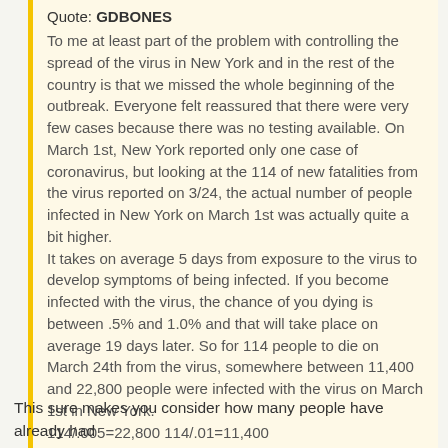Quote: GDBONES
To me at least part of the problem with controlling the spread of the virus in New York and in the rest of the country is that we missed the whole beginning of the outbreak. Everyone felt reassured that there were very few cases because there was no testing available. On March 1st, New York reported only one case of coronavirus, but looking at the 114 of new fatalities from the virus reported on 3/24, the actual number of people infected in New York on March 1st was actually quite a bit higher.
It takes on average 5 days from exposure to the virus to develop symptoms of being infected. If you become infected with the virus, the chance of you dying is between .5% and 1.0% and that will take place on average 19 days later. So for 114 people to die on March 24th from the virus, somewhere between 11,400 and 22,800 people were infected with the virus on March 1st in New York.
114/.005=22,800 114/.01=11,400
Is it possible that these numbers are close to the truth?
Thanks
This sure makes you consider how many people have already had